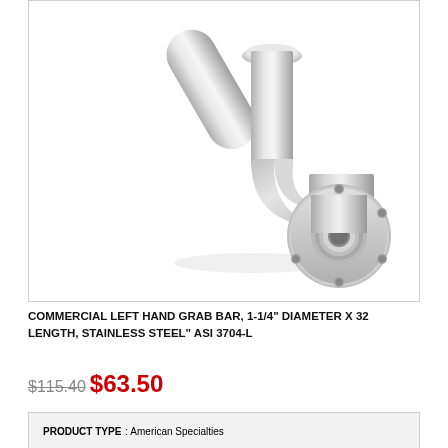[Figure (photo): Commercial left hand grab bar with flange mounts, L-shaped stainless steel pipe fitting, shown at angle. Metal tube curves from vertical (top, with circular flange plate at top) to horizontal (right, with larger round flange base plate with mounting holes visible).]
COMMERCIAL LEFT HAND GRAB BAR, 1-1/4" DIAMETER X 32 LENGTH, STAINLESS STEEL" ASI 3704-L
$115.40 $63.50
PRODUCT TYPE : American Specialties